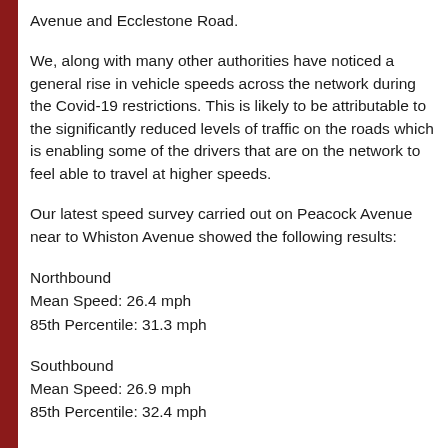Avenue and Ecclestone Road.
We, along with many other authorities have noticed a general rise in vehicle speeds across the network during the Covid-19 restrictions. This is likely to be attributable to the significantly reduced levels of traffic on the roads which is enabling some of the drivers that are on the network to feel able to travel at higher speeds.
Our latest speed survey carried out on Peacock Avenue near to Whiston Avenue showed the following results:
Northbound
Mean Speed: 26.4 mph
85th Percentile: 31.3 mph
Southbound
Mean Speed: 26.9 mph
85th Percentile: 32.4 mph